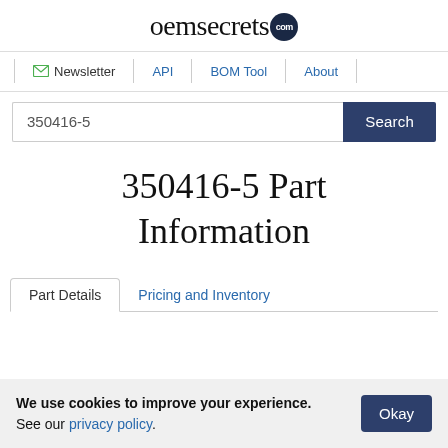oemsecrets.com
Newsletter | API | BOM Tool | About
350416-5 [search field] Search
350416-5 Part Information
Part Details   Pricing and Inventory
We use cookies to improve your experience. See our privacy policy. Okay